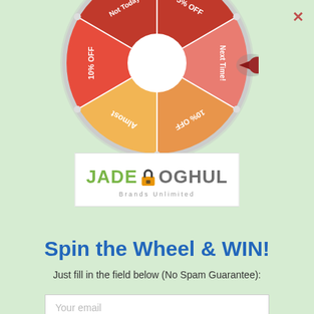[Figure (illustration): A spin-the-wheel prize wheel showing segments: Almost, 10% OFF, Not Today, 5% OFF, Next Time!, 10% OFF. The wheel is colorful with red, orange, and yellow segments on a light green background. A dark red pointer arrow points to the right side of the wheel.]
[Figure (logo): Jade Moghul Brands Unlimited logo. Green text 'JADE' followed by a lock icon in yellow/black, then grey text 'MOGHUL'. Subtitle reads 'Brands Unlimited' in small grey text.]
Spin the Wheel & WIN!
Just fill in the field below (No Spam Guarantee):
Your email